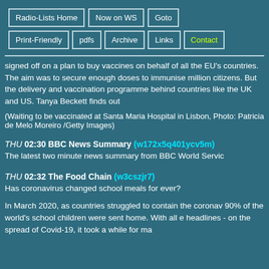Radio-Lists Home | Now on WS | Goto | Print-Friendly | pdfs | Archive | Links | Contact
signed off on a plan to buy vaccines on behalf of all the EU's countries. The aim was to secure enough doses to immunise million citizens. But the delivery and vaccination programme behind countries like the UK and US. Tanya Beckett finds out
(Waiting to be vaccinated at Santa Maria Hospital in Lisbon, Photo: Patricia de Melo Moreiro /Getty Images)
THU 02:30 BBC News Summary (w172x5q401ycv5m)
The latest two minute news summary from BBC World Servic
THU 02:32 The Food Chain (w3cszjr7)
Has coronavirus changed school meals for ever?

In March 2020, as countries struggled to contain the coronav 90% of the world's school children were sent home. With all e headlines - on the spread of Covid-19, it took a while for ma